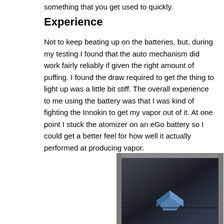something that you get used to quickly.
Experience
Not to keep beating up on the batteries, but, during my testing I found that the auto mechanism did work fairly reliably if given the right amount of puffing.  I found the draw required to get the thing to light up was a little bit stiff.  The overall experience to me using the battery was that I was kind of fighting the Innokin to get my vapor out of it.  At one point I stuck the atomizer on an eGo battery so I could get a better feel for how well it actually performed at producing vapor.
[Figure (photo): Photo of a product box opened, showing contents inside, with a dark background and an item visible inside the box.]